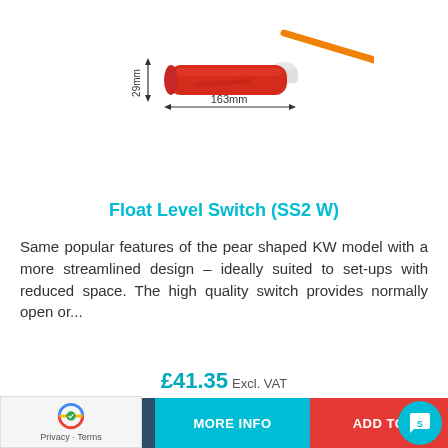[Figure (photo): Red cylindrical float level switch with orange cable, dimensions annotated: 29mm width and 163mm length]
Float Level Switch (SS2 W)
Same popular features of the pear shaped KW model with a more streamlined design – ideally suited to set-ups with reduced space. The high quality switch provides normally open or...
£41.35 Excl. VAT